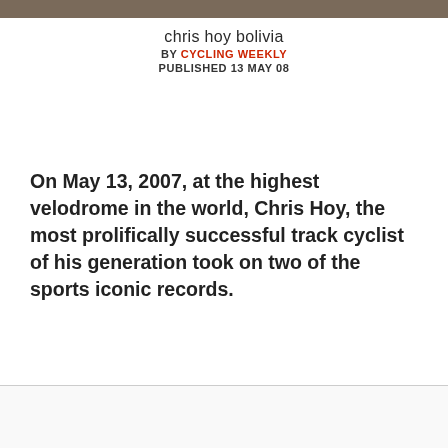[Figure (photo): Top strip showing a cropped photo of a velodrome or similar outdoor surface with a cyclist, very close cropped]
chris hoy bolivia
BY CYCLING WEEKLY
PUBLISHED 13 MAY 08
On May 13, 2007, at the highest velodrome in the world, Chris Hoy, the most prolifically successful track cyclist of his generation took on two of the sports iconic records.